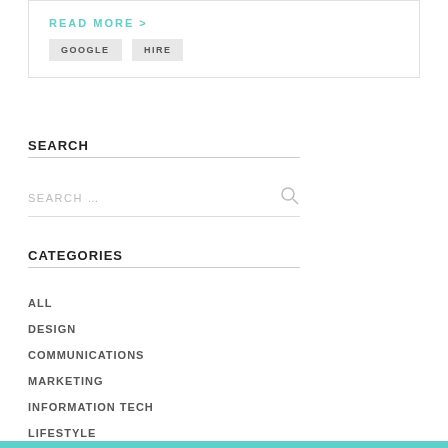READ MORE >
GOOGLE  HIRE
SEARCH
SEARCH ...
CATEGORIES
ALL
DESIGN
COMMUNICATIONS
MARKETING
INFORMATION TECH
LIFESTYLE
RECRUITMENT